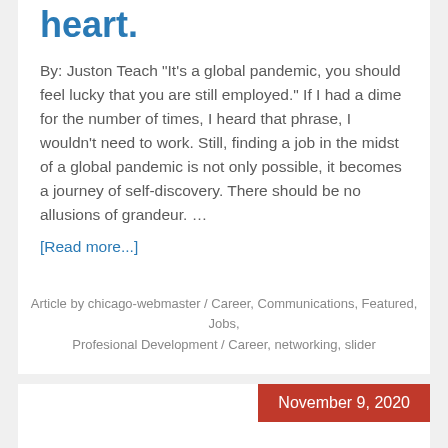heart.
By: Juston Teach "It's a global pandemic, you should feel lucky that you are still employed." If I had a dime for the number of times, I heard that phrase, I wouldn't need to work. Still, finding a job in the midst of a global pandemic is not only possible, it becomes a journey of self-discovery. There should be no allusions of grandeur. …
[Read more...]
Article by chicago-webmaster / Career, Communications, Featured, Jobs, Profesional Development / Career, networking, slider
November 9, 2020
What's Your Story? Defining Brand for Yourself and Your